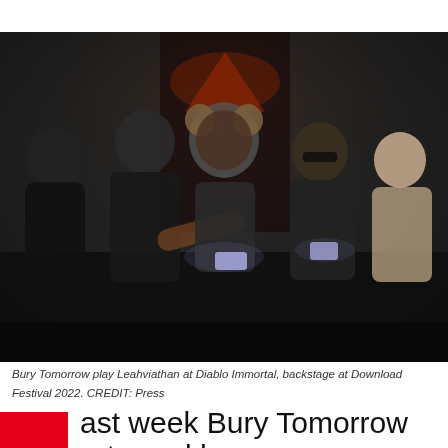[Figure (photo): Five members of the band Bury Tomorrow sitting backstage in a dark room, laughing and looking at mobile phones, with a Diablo Immortal/Download Festival banner visible in the background. Band members are tattooed, wearing casual dark clothing; one person wears a furry bear-ear hat.]
Bury Tomorrow play Leahviathan at Diablo Immortal, backstage at Download Festival 2022. CREDIT: Press
ast week Bury Tomorrow returned home,